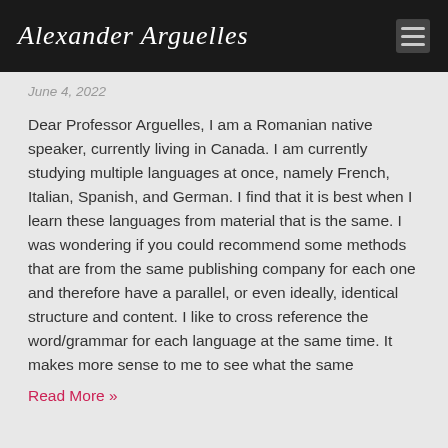Alexander Arguelles
June 4, 2022
Dear Professor Arguelles, I am a Romanian native speaker, currently living in Canada. I am currently studying multiple languages at once, namely French, Italian, Spanish, and German. I find that it is best when I learn these languages from material that is the same. I was wondering if you could recommend some methods that are from the same publishing company for each one and therefore have a parallel, or even ideally, identical structure and content. I like to cross reference the word/grammar for each language at the same time. It makes more sense to me to see what the same
Read More »